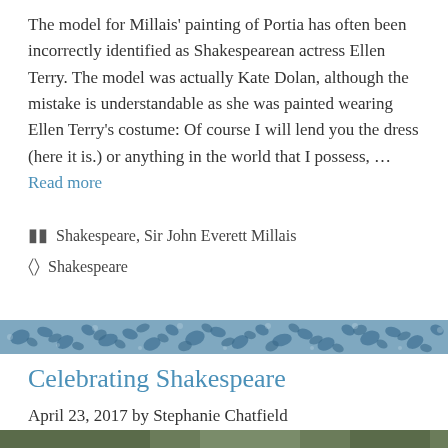The model for Millais' painting of Portia has often been incorrectly identified as Shakespearean actress Ellen Terry. The model was actually Kate Dolan, although the mistake is understandable as she was painted wearing Ellen Terry's costume: Of course I will lend you the dress (here it is.) or anything in the world that I possess, … Read more
Categories: Shakespeare, Sir John Everett Millais
Tags: Shakespeare
[Figure (illustration): Decorative blue floral/botanical pattern divider banner]
Celebrating Shakespeare
April 23, 2017 by Stephanie Chatfield